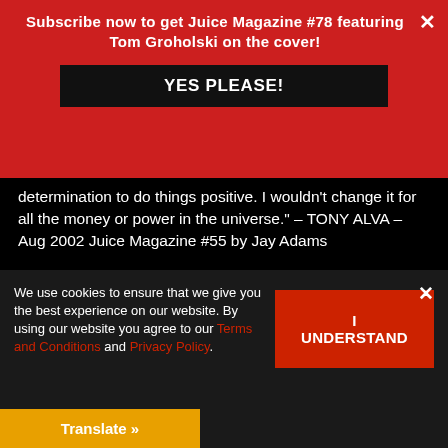Subscribe now to get Juice Magazine #78 featuring Tom Groholski on the cover!
determination to do things positive. I wouldn't change it for all the money or power in the universe." – TONY ALVA – Aug 2002 Juice Magazine #55 by Jay Adams
“All those dudes were bummed that I brought him to the pool. I said, “Fuck! This is Larry Bertlemann. He's the one that paved the way.” That dude was fluidly ripping. He was 100% surfing. He was really cool.” – PAUL CONSTANTINEAU – Aug 2002 Juice Magazine #55 by Steve Olson
We use cookies to ensure that we give you the best experience on our website. By using our website you agree to our Terms and Conditions and Privacy Policy.